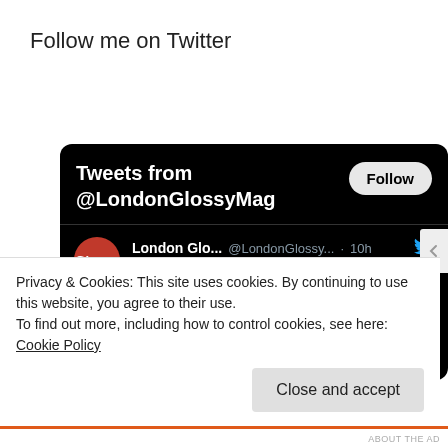Follow me on Twitter
[Figure (screenshot): Twitter widget showing Tweets from @LondonGlossyMag with a Follow button and a tweet from London Glo... @LondonGlossy... 10h: Karim Benzema gives Real Madrid victory at Espanyol londonglossy.com/karim-benzema-... with a partial image thumbnail below]
Privacy & Cookies: This site uses cookies. By continuing to use this website, you agree to their use.
To find out more, including how to control cookies, see here: Cookie Policy
Close and accept